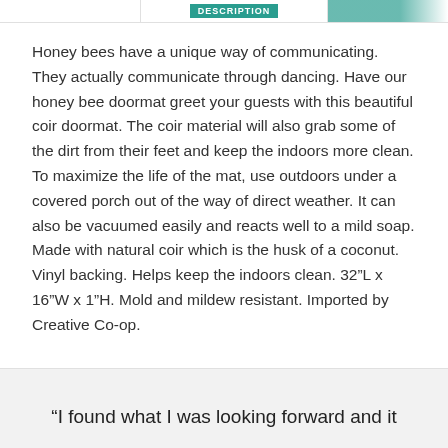DESCRIPTION
Honey bees have a unique way of communicating. They actually communicate through dancing. Have our honey bee doormat greet your guests with this beautiful coir doormat. The coir material will also grab some of the dirt from their feet and keep the indoors more clean. To maximize the life of the mat, use outdoors under a covered porch out of the way of direct weather. It can also be vacuumed easily and reacts well to a mild soap. Made with natural coir which is the husk of a coconut. Vinyl backing. Helps keep the indoors clean. 32"L x 16"W x 1"H. Mold and mildew resistant. Imported by Creative Co-op.
“I found what I was looking forward and it